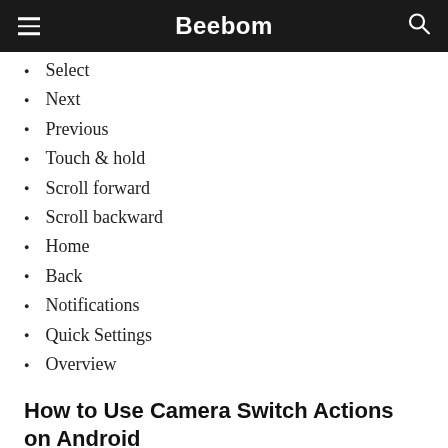Beebom
Select
Next
Previous
Touch & hold
Scroll forward
Scroll backward
Home
Back
Notifications
Quick Settings
Overview
How to Use Camera Switch Actions on Android